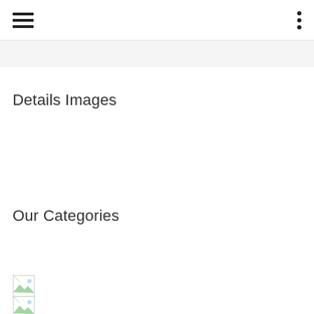Details Images
Our Categories
[Figure (illustration): Broken image placeholder icon 1]
[Figure (illustration): Broken image placeholder icon 2]